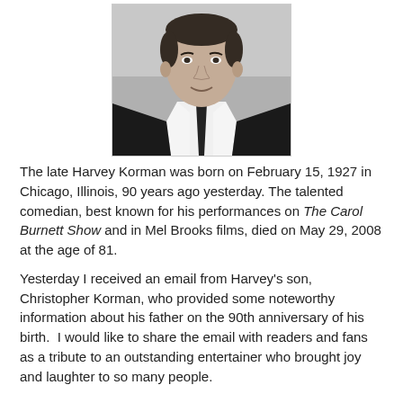[Figure (photo): Black and white portrait photo of Harvey Korman, a man in a dark suit and tie, smiling slightly, cropped from shoulders up.]
The late Harvey Korman was born on February 15, 1927 in Chicago, Illinois, 90 years ago yesterday. The talented comedian, best known for his performances on The Carol Burnett Show and in Mel Brooks films, died on May 29, 2008 at the age of 81.
Yesterday I received an email from Harvey's son, Christopher Korman, who provided some noteworthy information about his father on the 90th anniversary of his birth.  I would like to share the email with readers and fans as a tribute to an outstanding entertainer who brought joy and laughter to so many people.